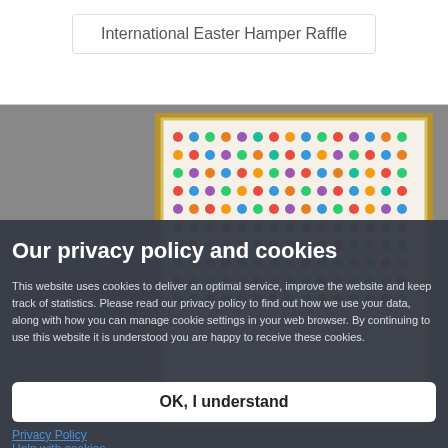International Easter Hamper Raffle
[Figure (photo): A large raffle board/chart with many small illustrated figures arranged in a grid pattern, with a decorative border, mounted on a light-colored background.]
Our privacy policy and cookies
This website uses cookies to deliver an optimal service, improve the website and keep track of statistics. Please read our privacy policy to find out how we use your data, along with how you can manage cookie settings in your web browser. By continuing to use this website it is understood you are happy to receive these cookies.
OK, I understand
Privacy Policy
Help with cookies